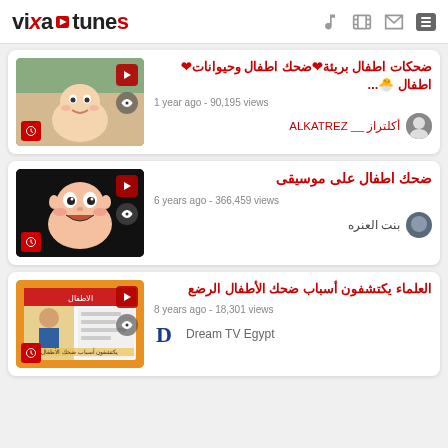vixa tunes
[Figure (screenshot): Video thumbnail of laughing baby]
ضحكات اطفال بريئة❤ضحك اطفال وحيوانات❤اطفال 🐣...
1 year ago - 90,195 views
أكلتراز __ ALKATREZ
[Figure (screenshot): Video thumbnail of cartoon baby laughing]
ضحك اطفال على موسيقى
6 years ago - 366,459 views
بنت العنره
[Figure (screenshot): Video thumbnail of TV broadcast about babies]
العلماء يكتشفون أسباب ضحك الأطفال الرضع
8 years ago - 18,301 views
Dream TV Egypt